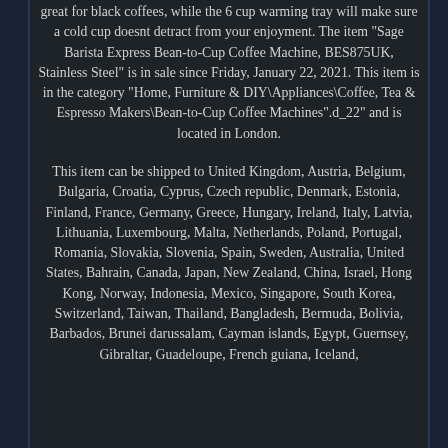great for black coffees, while the 6 cup warming tray will make sure a cold cup doesnt detract from your enjoyment. The item "Sage Barista Express Bean-to-Cup Coffee Machine, BES875UK, Stainless Steel" is in sale since Friday, January 22, 2021. This item is in the category "Home, Furniture & DIY\Appliances\Coffee, Tea & Espresso Makers\Bean-to-Cup Coffee Machines".d_22" and is located in London.
This item can be shipped to United Kingdom, Austria, Belgium, Bulgaria, Croatia, Cyprus, Czech republic, Denmark, Estonia, Finland, France, Germany, Greece, Hungary, Ireland, Italy, Latvia, Lithuania, Luxembourg, Malta, Netherlands, Poland, Portugal, Romania, Slovakia, Slovenia, Spain, Sweden, Australia, United States, Bahrain, Canada, Japan, New Zealand, China, Israel, Hong Kong, Norway, Indonesia, Mexico, Singapore, South Korea, Switzerland, Taiwan, Thailand, Bangladesh, Bermuda, Bolivia, Barbados, Brunei darussalam, Cayman islands, Egypt, Guernsey, Gibraltar, Guadeloupe, French guiana, Iceland,